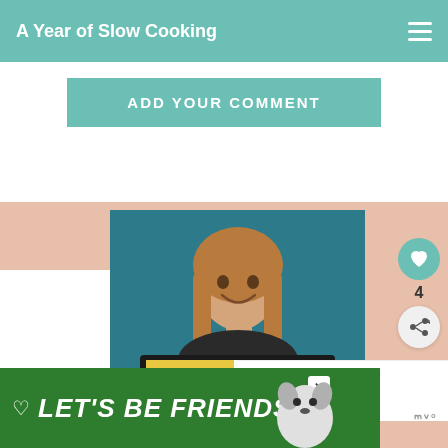A Year of Slow Cooking
ADD YOUR COMMENT
[Figure (photo): Woman smiling and holding an open book/menu in front of a teal background. The book shows 'MAKE IT FAST, COOK IT SLOW' on its cover.]
4
WHAT'S NEXT → CrockPot Gingerbread...
LET'S BE FRIENDS